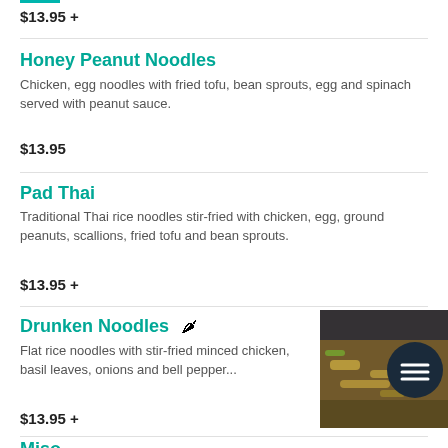$13.95 +
Honey Peanut Noodles
Chicken, egg noodles with fried tofu, bean sprouts, egg and spinach served with peanut sauce.
$13.95
Pad Thai
Traditional Thai rice noodles stir-fried with chicken, egg, ground peanuts, scallions, fried tofu and bean sprouts.
$13.95 +
Drunken Noodles
Flat rice noodles with stir-fried minced chicken, basil leaves, onions and bell pepper...
[Figure (photo): Photo of Drunken Noodles dish with stir-fried noodles, vegetables]
$13.95 +
Miso Ramen